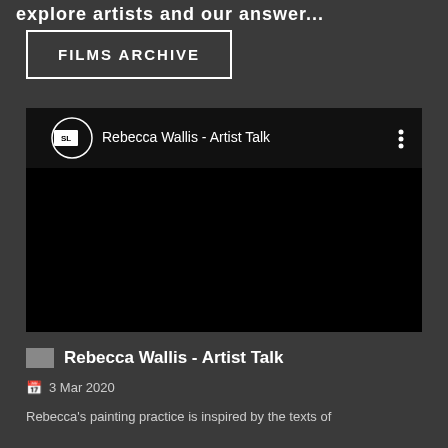explore artists and our answer...
FILMS ARCHIVE
[Figure (screenshot): Embedded YouTube-style video player showing 'Rebecca Wallis - Artist Talk' with a channel icon (SL logo), video title in top bar, three-dot menu icon, and a black video area.]
Rebecca Wallis - Artist Talk
3 Mar 2020
Rebecca's painting practice is inspired by the texts of